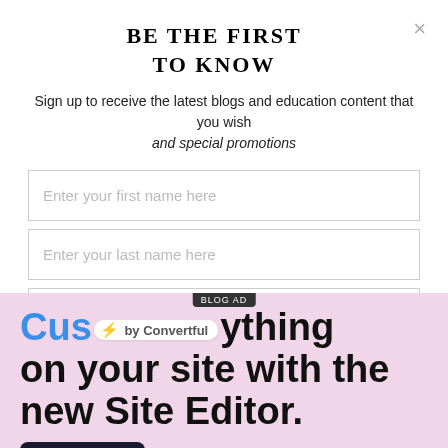BE THE FIRST TO KNOW
Sign up to receive the latest blogs and education content that you wish and special promotions
Enter your first name here
Enter your last name here
Enter your email here
SUBMIT
[Figure (screenshot): Advertisement banner for Convertful Site Editor with pink background showing 'Customize anything on your site with the new Site Editor.' and a 'Start Today' button]